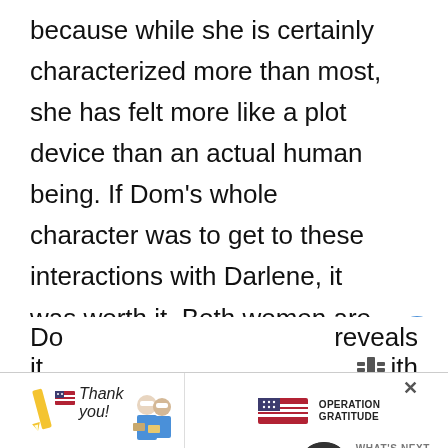because while she is certainly characterized more than most, she has felt more like a plot device than an actual human being. If Dom's whole character was to get to these interactions with Darlene, it was worth it. Both women are so sarcastic and rude to one another it is incredibly amusing and a masterclass in apathy.
[Figure (infographic): Like button (heart icon, blue circle) with count 1, and share button below on right side]
Eventually, Dom decides that she's had enough fun placating Darlene. Dom takes
[Figure (infographic): WHAT'S NEXT promo box with Mystery Ranch thumbnail and text 'Everything You Need to...']
Do... reveals it...
[Figure (infographic): Advertisement banner: Thank you with flag and pencil illustration, medical workers photo, Operation Gratitude logo, close X button]